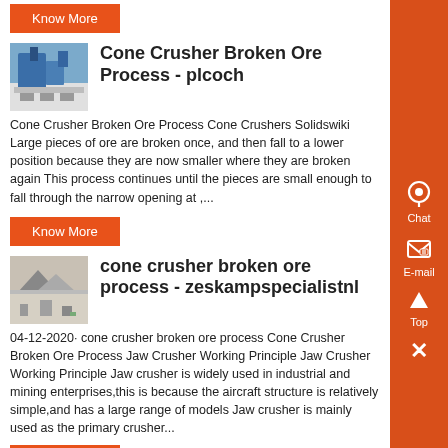Know More
Cone Crusher Broken Ore Process - plcoch
Cone Crusher Broken Ore Process Cone Crushers Solidswiki Large pieces of ore are broken once, and then fall to a lower position because they are now smaller where they are broken again This process continues until the pieces are small enough to fall through the narrow opening at ,...
Know More
cone crusher broken ore process - zeskampspecialistnl
04-12-2020· cone crusher broken ore process Cone Crusher Broken Ore Process Jaw Crusher Working Principle Jaw Crusher Working Principle Jaw crusher is widely used in industrial and mining enterprises,this is because the aircraft structure is relatively simple,and has a large range of models Jaw crusher is mainly used as the primary crusher...
Know More